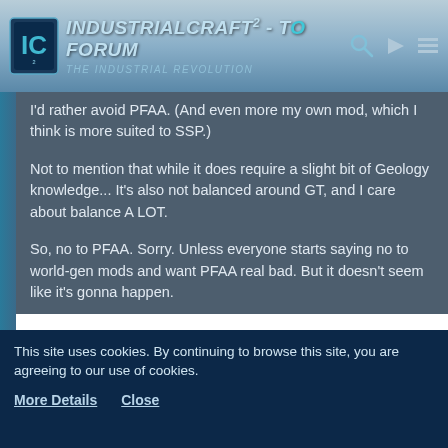IndustrialCraft² - The Forum | The Industrial Revolution
I'd rather avoid PFAA. (And even more my own mod, which I think is more suited to SSP.)
Not to mention that while it does require a slight bit of Geology knowledge... It's also not balanced around GT, and I care about balance A LOT.
So, no to PFAA. Sorry. Unless everyone starts saying no to world-gen mods and want PFAA real bad. But it doesn't seem like it's gonna happen.
Queue
CQI Co-founder
This site uses cookies. By continuing to browse this site, you are agreeing to our use of cookies.
More Details   Close